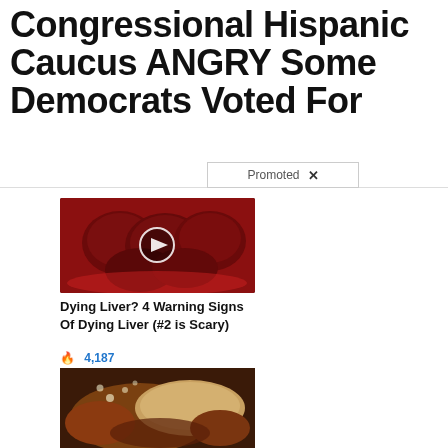Congressional Hispanic Caucus ANGRY Some Democrats Voted For
Promoted
[Figure (photo): Photo of cooked beets on a red plate with a video play button overlay]
Dying Liver? 4 Warning Signs Of Dying Liver (#2 is Scary)
🔥 4,187
[Figure (photo): Medical photo of internal organs (liver/intestines)]
Why Doctors In The Know No Longer Prescribe Metformin
🔥 108,347